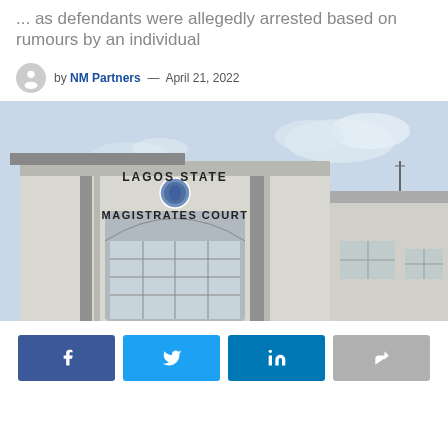... as defendants were allegedly arrested based on rumours by an individual
by NM Partners — April 21, 2022
[Figure (photo): Exterior of Lagos State Magistrates Court building, a white multi-story building with the text 'LAGOS STATE MAGISTRATES COURT' and a coat of arms on the facade, photographed from below against a blue sky.]
Facebook share button, Twitter share button, LinkedIn share button, general share button